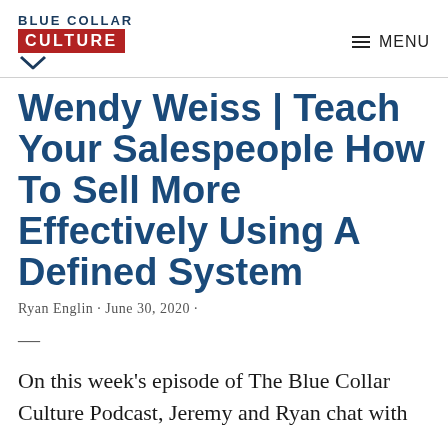BLUE COLLAR CULTURE — MENU
Wendy Weiss | Teach Your Salespeople How To Sell More Effectively Using A Defined System
Ryan Englin · June 30, 2020 ·
—
On this week's episode of The Blue Collar Culture Podcast, Jeremy and Ryan chat with